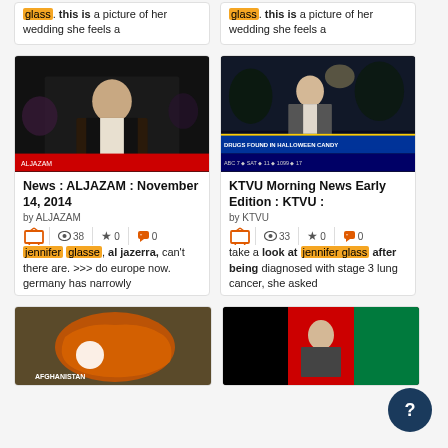glass. this is a picture of her wedding she feels a
glass. this is a picture of her wedding she feels a
[Figure (screenshot): Video thumbnail showing a man in dark vest on Al Jazeera news broadcast]
News : ALJAZAM : November 14, 2014
by ALJAZAM
38 views, 0 stars, 0 quotes
jennifer glasse, al jazerra, can't there are. >>> do europe now. germany has narrowly
[Figure (screenshot): Video thumbnail showing a man in suit at KTVU morning news broadcast with chyron DRUGS FOUND IN HALLOWEEN CANDY]
KTVU Morning News Early Edition : KTVU :
by KTVU
33 views, 0 stars, 0 quotes
take a look at jennifer glass after being diagnosed with stage 3 lung cancer, she asked
[Figure (screenshot): Video thumbnail showing map of Afghanistan]
[Figure (screenshot): Video thumbnail showing a man speaking in front of Afghan flag]